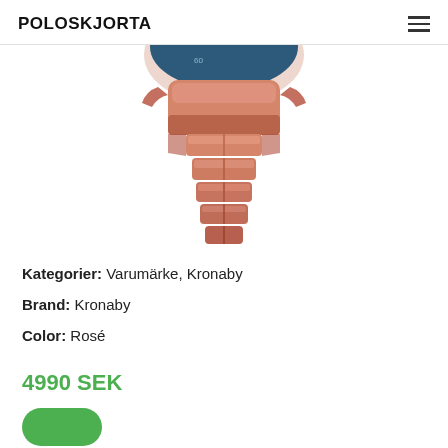POLOSKJORTA
[Figure (photo): Close-up photo of a rose gold metal watch showing the case and bracelet links from below, with a dark blue dial visible at the top.]
Kategorier: Varumärke, Kronaby
Brand: Kronaby
Color: Rosé
4990 SEK